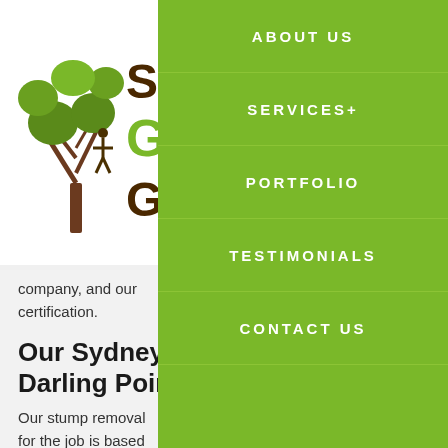[Figure (logo): Sydney Green Group logo with tree illustration and brown/green text]
company, and our certification.
Our Sydney Gre... Darling Point Ro...
Our stump removal for the job is based
The Diameter of t... your tree stump is a... be expected. A larg... in comparison to a
Access to the Tre...
[Figure (screenshot): Navigation menu overlay on green background with items: ABOUT US, SERVICES+, PORTFOLIO, TESTIMONIALS, CONTACT US]